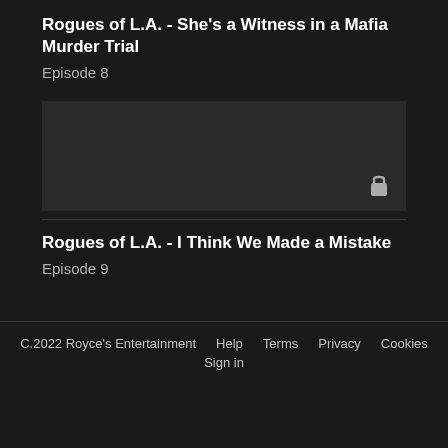Rogues of L.A. - She's a Witness in a Mafia Murder Trial
Episode 8
Rogues of L.A. - I Think We Made a Mistake
Episode 9
C.2022 Royce's Entertainment   Help   Terms   Privacy   Cookies   Sign in